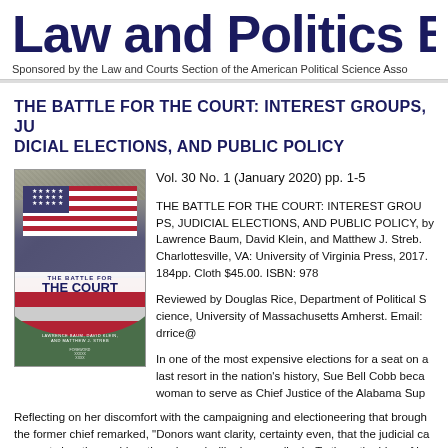Law and Politics B
Sponsored by the Law and Courts Section of the American Political Science Asso
THE BATTLE FOR THE COURT: INTEREST GROUPS, JUDICIAL ELECTIONS, AND PUBLIC POLICY
Vol. 30 No. 1 (January 2020) pp. 1-5
[Figure (illustration): Book cover of 'The Battle for the Court: Interest Groups, Judicial Elections, and Public Policy' by Lawrence Baum, David Klein, and Matthew J. Streb]
THE BATTLE FOR THE COURT: INTEREST GROUPS, JUDICIAL ELECTIONS, AND PUBLIC POLICY, by Lawrence Baum, David Klein, and Matthew J. Streb. Charlottesville, VA: University of Virginia Press, 2017. 184pp. Cloth $45.00. ISBN: 978...
Reviewed by Douglas Rice, Department of Political Science, University of Massachusetts Amherst. Email: drrice@...
In one of the most expensive elections for a seat on a court of last resort in the nation's history, Sue Bell Cobb became the first woman to serve as Chief Justice of the Alabama Supreme Court. Reflecting on her discomfort with the campaigning and electioneering that brought her to office, the former chief remarked, "Donors want clarity, certainty even, that the judicial candidates they support view the world as they do and will rule accordingly. To them the idea of in...